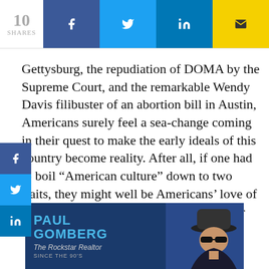[Figure (infographic): Social share bar showing 10 shares with Facebook, Twitter, LinkedIn, and email buttons]
Gettysburg, the repudiation of DOMA by the Supreme Court, and the remarkable Wendy Davis filibuster of an abortion bill in Austin, Americans surely feel a sea-change coming in their quest to make the early ideals of this country become reality. After all, if one had to boil “American culture” down to two traits, they might well be Americans’ love of having lots of room around them and their distaste for taking orders.
[Figure (photo): Advertisement for Paul Gomberg, The Rockstar Realtor, Since the 90’s, with photo of person wearing hat and sunglasses]